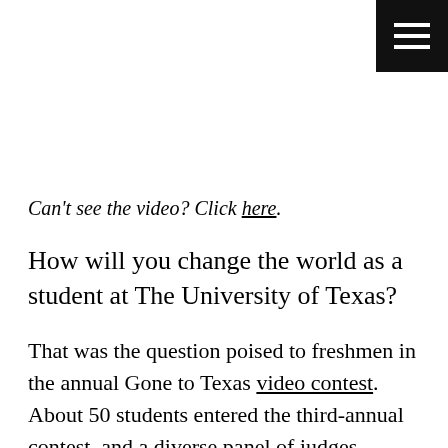[Figure (other): Hamburger menu button icon (three white horizontal lines on black background) in top-right corner]
Can't see the video? Click here.
How will you change the world as a student at The University of Texas?
That was the question poised to freshmen in the annual Gone to Texas video contest. About 50 students entered the third-annual contest, and a diverse panel of judges—including Vice President for